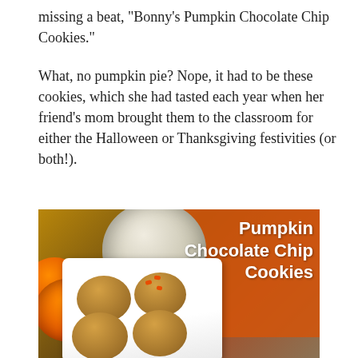missing a beat, “Bonny’s Pumpkin Chocolate Chip Cookies.”
What, no pumpkin pie? Nope, it had to be these cookies, which she had tasted each year when her friend’s mom brought them to the classroom for either the Halloween or Thanksgiving festivities (or both!).
[Figure (photo): Photo of pumpkin chocolate chip cookies on a white rectangular plate, surrounded by white and orange pumpkins on an orange napkin and wooden surface. White bold text overlay reads 'Pumpkin Chocolate Chip Cookies'.]